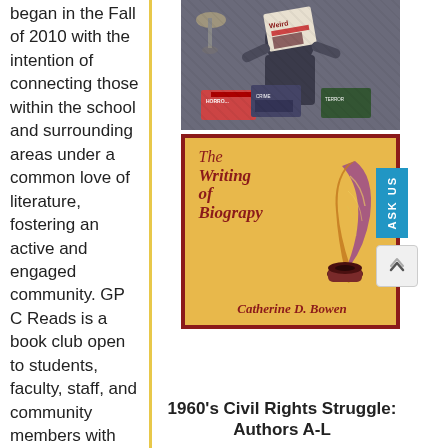began in the Fall of 2010 with the intention of connecting those within the school and surrounding areas under a common love of literature, fostering an active and engaged community. GP C Reads is a book club open to students, faculty, staff, and community members with the goal of
[Figure (illustration): Comic book style illustration showing a person reading a horror/weird magazine surrounded by other comic/horror publications]
[Figure (illustration): Book cover: 'The Writing of Biograpy' by Catherine D. Bowen, with a feather quill and ink well illustration on a golden/yellow background with dark red border]
1960's Civil Rights Struggle: Authors A-L